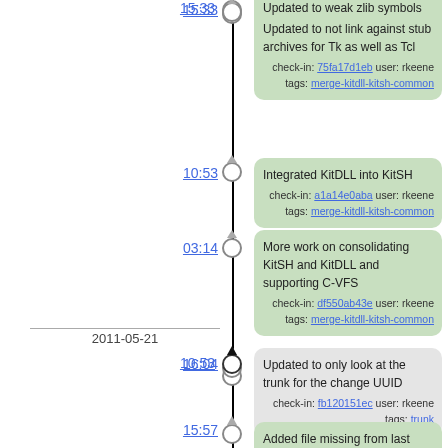15:33
Corrected typo
Updated to weak zlib symbols
Updated to not link against stub archives for Tk as well as Tcl
check-in: 75fa17d1eb user: rkeene tags: merge-kitdll-kitsh-common
10:53
Integrated KitDLL into KitSH
check-in: a1a14e0aba user: rkeene tags: merge-kitdll-kitsh-common
03:14
More work on consolidating KitSH and KitDLL and supporting C-VFS
check-in: df550ab43e user: rkeene tags: merge-kitdll-kitsh-common
2011-05-21
16:04
Updated to only look at the trunk for the change UUID
check-in: fb120151ec user: rkeene tags: trunk
15:57
Added file missing from last commit